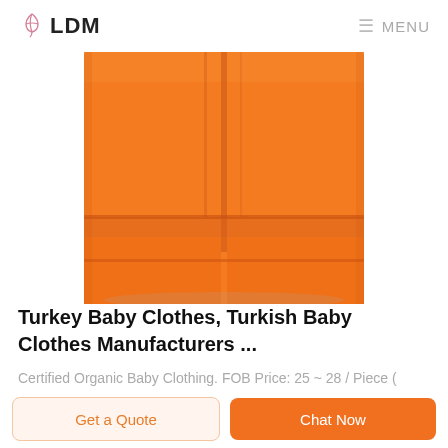LDM  MENU
[Figure (photo): Close-up photo of orange baby clothing fabric showing stitched panels and seams against a white background]
Turkey Baby Clothes, Turkish Baby Clothes Manufacturers ...
Certified Organic Baby Clothing. FOB Price: 25 ~ 28 / Piece ( Negotiable ) Get Latest Price Min Order: 12 Piece Supplying Ability: 120 Piece / Month
Get a Quote
Chat Now